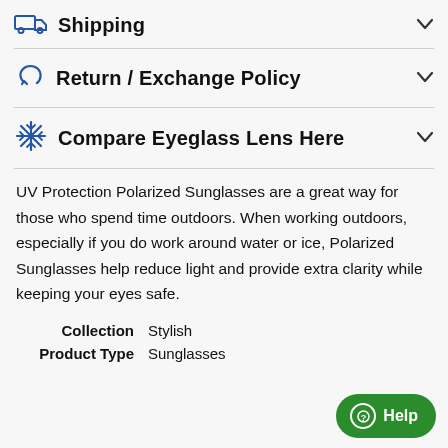Shipping
Return / Exchange Policy
Compare Eyeglass Lens Here
UV Protection Polarized Sunglasses are a great way for those who spend time outdoors. When working outdoors, especially if you do work around water or ice, Polarized Sunglasses help reduce light and provide extra clarity while keeping your eyes safe.
|  |  |
| --- | --- |
| Collection | Stylish |
| Product Type | Sunglasses |